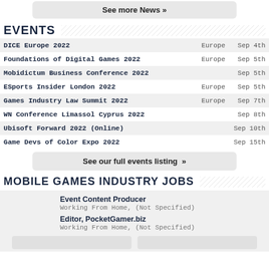See more News »
EVENTS
| Event | Region | Date |
| --- | --- | --- |
| DICE Europe 2022 | Europe | Sep 4th |
| Foundations of Digital Games 2022 | Europe | Sep 5th |
| Mobidictum Business Conference 2022 |  | Sep 5th |
| ESports Insider London 2022 | Europe | Sep 5th |
| Games Industry Law Summit 2022 | Europe | Sep 7th |
| WN Conference Limassol Cyprus 2022 |  | Sep 8th |
| Ubisoft Forward 2022 (Online) |  | Sep 10th |
| Game Devs of Color Expo 2022 |  | Sep 15th |
See our full events listing »
MOBILE GAMES INDUSTRY JOBS
Event Content Producer
Working From Home, (Not Specified)
Editor, PocketGamer.biz
Working From Home, (Not Specified)